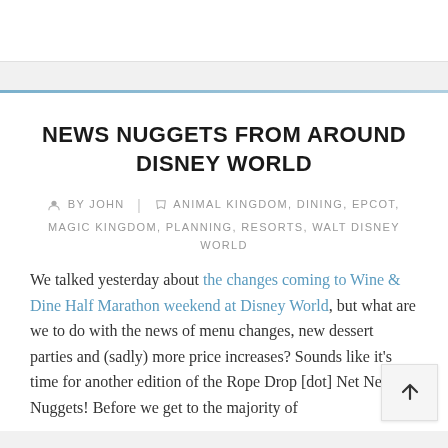NEWS NUGGETS FROM AROUND DISNEY WORLD
BY JOHN | ANIMAL KINGDOM, DINING, EPCOT, MAGIC KINGDOM, PLANNING, RESORTS, WALT DISNEY WORLD
We talked yesterday about the changes coming to Wine & Dine Half Marathon weekend at Disney World, but what are we to do with the news of menu changes, new dessert parties and (sadly) more price increases? Sounds like it's time for another edition of the Rope Drop [dot] Net News Nuggets! Before we get to the majority of